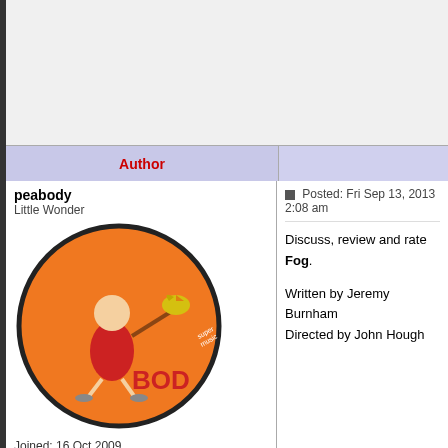[Figure (other): Advertisement banner area at the top]
| Author |  |
| --- | --- |
| peabody
Little Wonder
[avatar image of BOD orange disc]
Joined: 16 Oct 2009
Posts: 226
Location: MACS0647-JD
Back to top | Posted: Fri Sep 13, 2013 2:08 am

Discuss, review and rate Fog.

Written by Jeremy Burnham
Directed by John Hough |